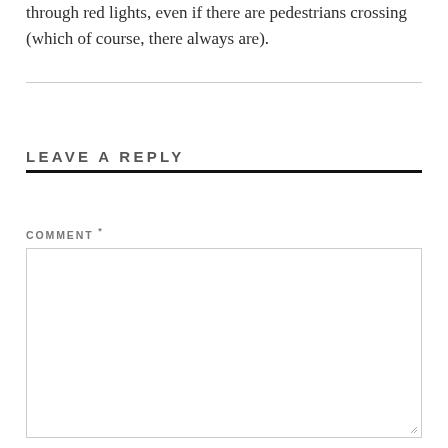through red lights, even if there are pedestrians crossing (which of course, there always are).
LEAVE A REPLY
COMMENT *
[Figure (other): Empty comment text area input box]